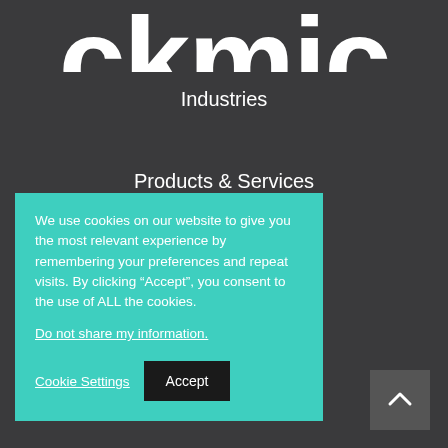ckmic
Industries
Products & Services
We use cookies on our website to give you the most relevant experience by remembering your preferences and repeat visits. By clicking “Accept”, you consent to the use of ALL the cookies.
Do not share my information.
Cookie Settings  Accept